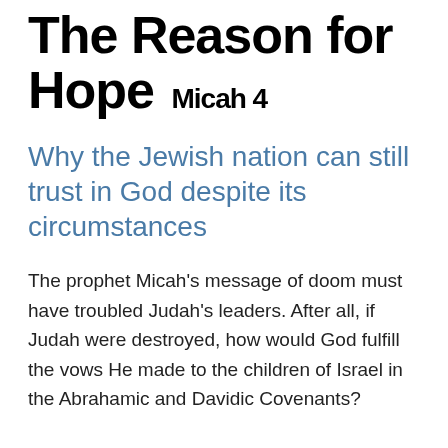The Reason for Hope Micah 4
Why the Jewish nation can still trust in God despite its circumstances
The prophet Micah's message of doom must have troubled Judah's leaders. After all, if Judah were destroyed, how would God fulfill the vows He made to the children of Israel in the Abrahamic and Davidic Covenants?